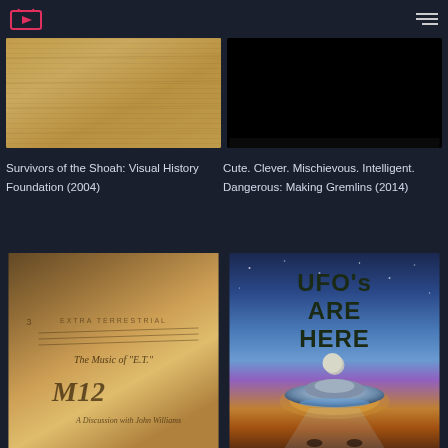[Figure (screenshot): Streaming website header with pink TV/play icon logo on left and hamburger menu on right, dark navy background]
[Figure (photo): Aged parchment/document texture in warm golden-brown tones]
Survivors of the Shoah: Visual History Foundation (2004)
[Figure (photo): Black/dark thumbnail image]
Cute. Clever. Mischievous. Intelligent. Dangerous: Making Gremlins (2014)
[Figure (photo): Close-up of sheet music cover reading 'EXTRA TERRESTRIAL', 'The Music of E.T.', 'M12', 'A Discussion with John Williams']
[Figure (photo): UFO's ARE HERE movie/documentary poster with flying saucer illustration against colorful space background]